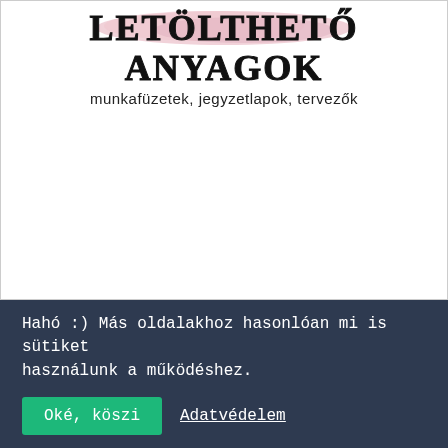[Figure (logo): Logo with pink watercolor blob behind bold uppercase serif text 'LETÖLTHETŐ ANYAGOK' and subtitle 'munkafüzetek, jegyzetlapok, tervezők']
Hahó :) Más oldalakhoz hasonlóan mi is sütiket használunk a működéshez.
Oké, köszi   Adatvédelem